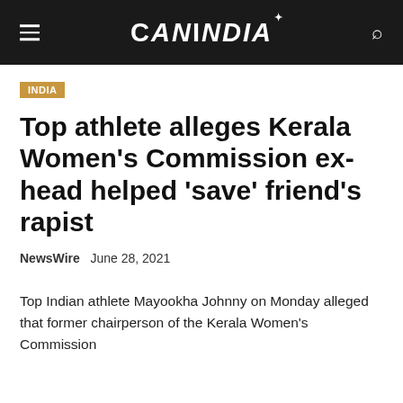CANINDIA
INDIA
Top athlete alleges Kerala Women's Commission ex-head helped 'save' friend's rapist
NewsWire  June 28, 2021
Top Indian athlete Mayookha Johnny on Monday alleged that former chairperson of the Kerala Women's Commission